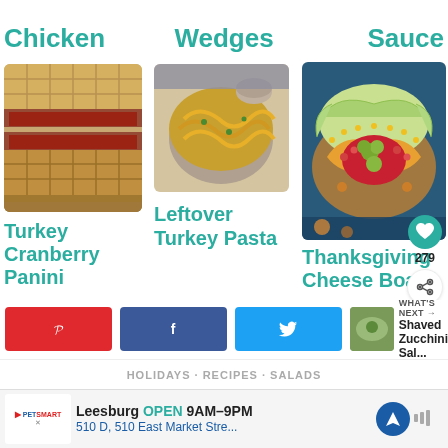Chicken
Wedges
Sauce
[Figure (photo): Turkey Cranberry Panini stacked sandwich]
Turkey Cranberry Panini
[Figure (photo): Leftover Turkey Pasta in a bowl]
Leftover Turkey Pasta
[Figure (photo): Thanksgiving Cheese Board with fruit and vegetables arranged decoratively]
Thanksgiving Cheese Board
HOLIDAYS · RECIPES · SALADS
WHAT'S NEXT → Shaved Zucchini Sal...
Leesburg OPEN 9AM–9PM 510 D, 510 East Market Stre...